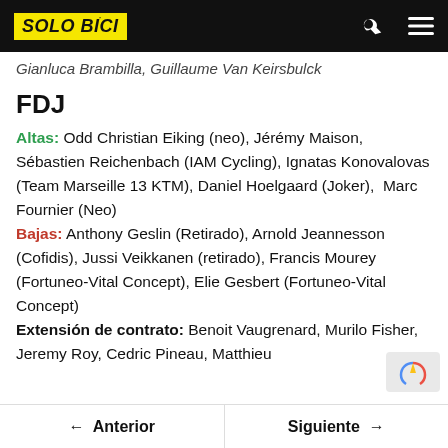SOLO BICI
Gianluca Brambilla, Guillaume Van Keirsbulck
FDJ
Altas: Odd Christian Eiking (neo), Jérémy Maison, Sébastien Reichenbach (IAM Cycling), Ignatas Konovalovas (Team Marseille 13 KTM), Daniel Hoelgaard (Joker),  Marc Fournier (Neo)
Bajas: Anthony Geslin (Retirado), Arnold Jeannesson (Cofidis), Jussi Veikkanen (retirado), Francis Mourey (Fortuneo-Vital Concept), Elie Gesbert (Fortuneo-Vital Concept)
Extensión de contrato: Benoit Vaugrenard, Murilo Fisher, Jeremy Roy, Cedric Pineau, Matthieu
← Anterior   Siguiente →